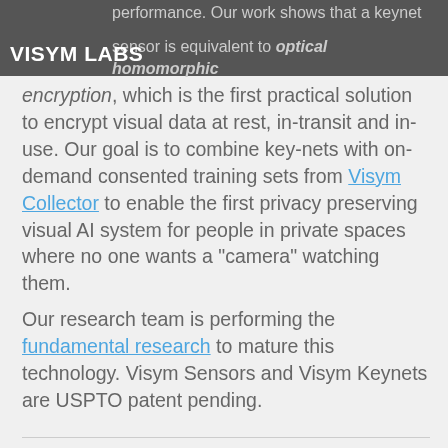VISYM LABS
performance. Our work shows that a keynet sensor is equivalent to optical homomorphic encryption, which is the first practical solution to encrypt visual data at rest, in-transit and in-use. Our goal is to combine key-nets with on-demand consented training sets from Visym Collector to enable the first privacy preserving visual AI system for people in private spaces where no one wants a "camera" watching them.
Our research team is performing the fundamental research to mature this technology. Visym Sensors and Visym Keynets are USPTO patent pending.